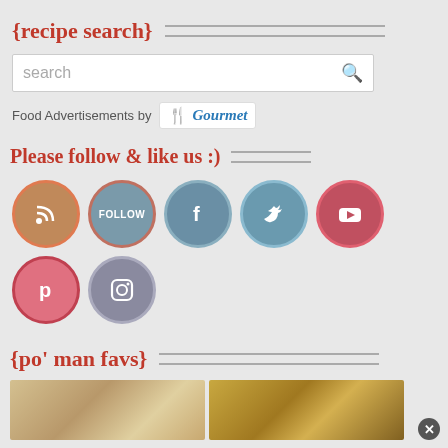{recipe search}
[Figure (screenshot): Search box with placeholder text 'search' and a magnifying glass icon]
Food Advertisements by Gourmet
Please follow & like us :)
[Figure (infographic): Social media icon buttons: RSS, Follow, Facebook, Twitter, YouTube, Pinterest, Instagram]
{po' man favs}
[Figure (photo): Two food photos side by side showing baked goods]